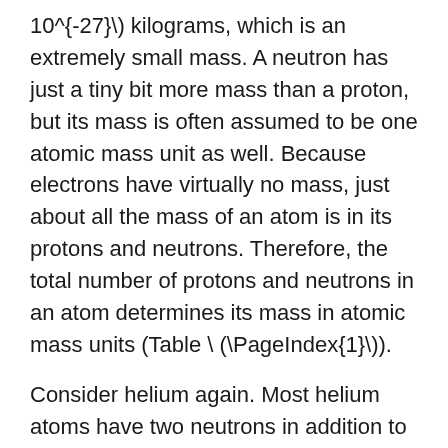10^{-27}\) kilograms, which is an extremely small mass. A neutron has just a tiny bit more mass than a proton, but its mass is often assumed to be one atomic mass unit as well. Because electrons have virtually no mass, just about all the mass of an atom is in its protons and neutrons. Therefore, the total number of protons and neutrons in an atom determines its mass in atomic mass units (Table \ (\PageIndex{1}\)).
Consider helium again. Most helium atoms have two neutrons in addition to two protons. Therefore the mass of most helium atoms is 4 atomic mass units (\ (2 \: \text{amu}\) for the protons + \(2 \: \text{amu}\) for the neutrons). However, some helium atoms have more or less than two neutrons. Atoms with the same number of protons but different numbers of neutrons are called isotopes. Because the number of neutrons can vary for a given element, the mass